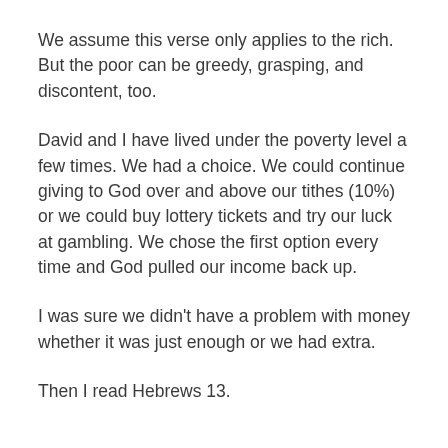We assume this verse only applies to the rich. But the poor can be greedy, grasping, and discontent, too.
David and I have lived under the poverty level a few times. We had a choice. We could continue giving to God over and above our tithes (10%) or we could buy lottery tickets and try our luck at gambling. We chose the first option every time and God pulled our income back up.
I was sure we didn't have a problem with money whether it was just enough or we had extra.
Then I read Hebrews 13.